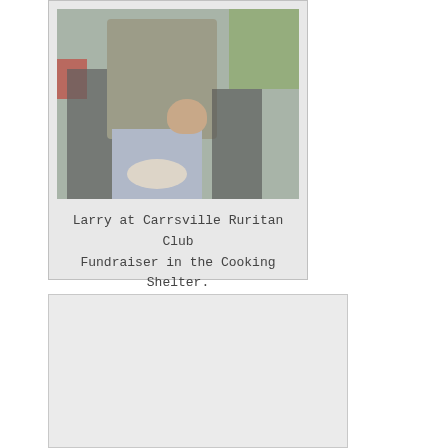[Figure (photo): Photo of Larry at Carrsville Ruritan Club Fundraiser in the Cooking Shelter. A person is seated in a folding chair outdoors.]
Larry at Carrsville Ruritan Club Fundraiser in the Cooking Shelter.
[Figure (photo): A second photo box, appears mostly blank/light gray — likely a photo that did not load or is very faint.]